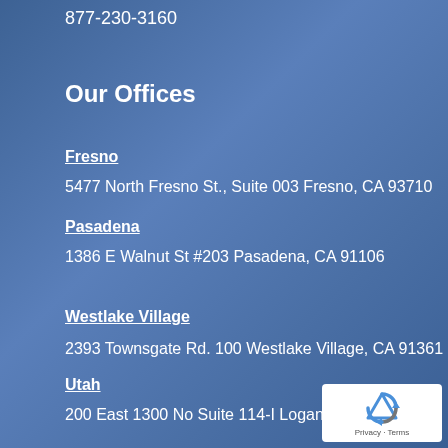877-230-3160
Our Offices
Fresno
5477 North Fresno St., Suite 003 Fresno, CA 93710
Pasadena
1386 E Walnut St #203 Pasadena, CA 91106
Westlake Village
2393 Townsgate Rd. 100 Westlake Village, CA 91361
Utah
200 East 1300 No Suite 114-I Logan, UT 84341
[Figure (logo): reCAPTCHA badge with Privacy and Terms links]